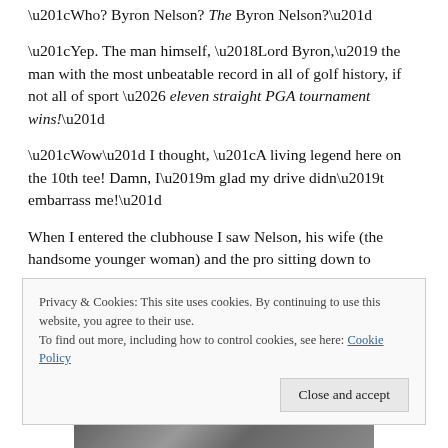“Who? Byron Nelson? The Byron Nelson?”
“Yep. The man himself, ‘Lord Byron,’ the man with the most unbeatable record in all of golf history, if not all of sport … eleven straight PGA tournament wins!”
“Wow” I thought, “A living legend here on the 10th tee! Damn, I’m glad my drive didn’t embarrass me!”
When I entered the clubhouse I saw Nelson, his wife (the handsome younger woman) and the pro sitting down to
Privacy & Cookies: This site uses cookies. By continuing to use this website, you agree to their use.
To find out more, including how to control cookies, see here: Cookie Policy
[Figure (photo): Black and white photograph strip at the bottom of the page]